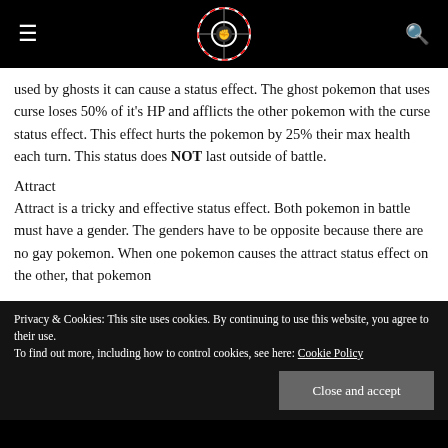[Navigation header with hamburger menu, logo, and search icon]
used by ghosts it can cause a status effect. The ghost pokemon that uses curse loses 50% of it's HP and afflicts the other pokemon with the curse status effect. This effect hurts the pokemon by 25% their max health each turn. This status does NOT last outside of battle.
Attract
Attract is a tricky and effective status effect. Both pokemon in battle must have a gender. The genders have to be opposite because there are no gay pokemon. When one pokemon causes the attract status effect on the other, that pokemon
Privacy & Cookies: This site uses cookies. By continuing to use this website, you agree to their use.
To find out more, including how to control cookies, see here: Cookie Policy
Close and accept